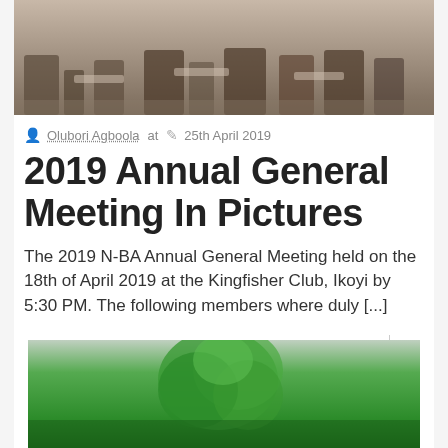[Figure (photo): Photo of people seated in chairs at a meeting, showing legs/feet in formal attire]
Olubori Agboola at  25th April 2019
2019 Annual General Meeting In Pictures
The 2019 N-BA Annual General Meeting held on the 18th of April 2019 at the Kingfisher Club, Ikoyi by 5:30 PM. The following members where duly [...]
[Figure (photo): Photo showing a green leafy plant or floral decoration, possibly at a meeting venue]